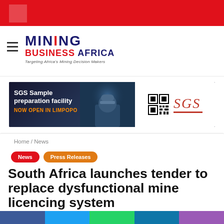[Figure (logo): Red top navigation bar with faint square icon]
[Figure (logo): Mining Business Africa logo with tagline: Targeting Africa's Mining Decision Makers]
[Figure (infographic): SGS Sample preparation facility - NOW OPEN IN LIMPOPO advertisement banner with miner photo, QR code and SGS logo]
Home / News
News
Press Releases
South Africa launches tender to replace dysfunctional mine licencing system
[Figure (infographic): Social media share bar: Facebook, Twitter, WhatsApp, LinkedIn, Pinterest]